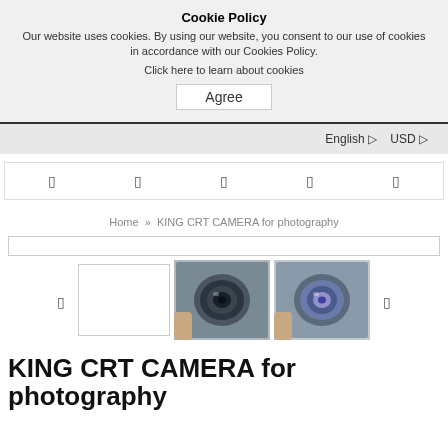Cookie Policy
Our website uses cookies. By using our website, you consent to our use of cookies in accordance with our Cookies Policy.
Click here to learn about cookies
Agree
English   USD
[Figure (screenshot): Navigation bar with 5 icon placeholders]
Home  »  KING CRT CAMERA for photography
[Figure (screenshot): Search bar]
[Figure (photo): Product image thumbnails of KING CRT CAMERA, two thumbnail photos of a circular camera lens piece with hands holding it, and a blank white thumbnail]
KING CRT CAMERA for photography